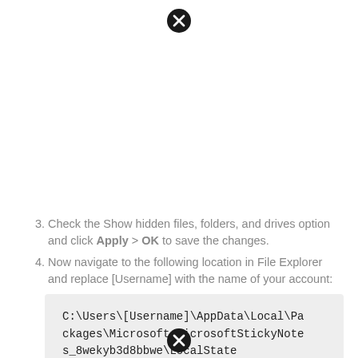[Figure (other): Close/dismiss button icon (black circle with white X) at top center of page]
3. Check the Show hidden files, folders, and drives option and click Apply > OK to save the changes.
4. Now navigate to the following location in File Explorer and replace [Username] with the name of your account:
C:\Users\[Username]\AppData\Local\Packages\Microsoft.MicrosoftStickyNotes_8wekyb3d8bbwe\LocalState
[Figure (other): Close/dismiss button icon (black circle with white X) at bottom center of page]